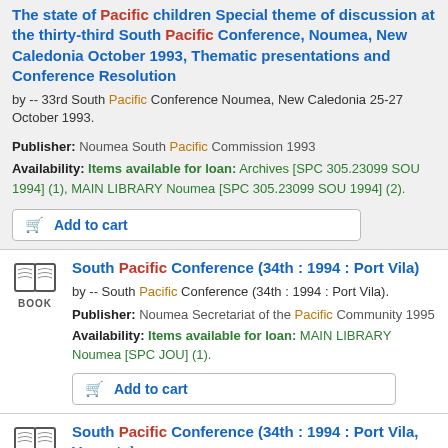The state of Pacific children Special theme of discussion at the thirty-third South Pacific Conference, Noumea, New Caledonia October 1993, Thematic presentations and Conference Resolution
by -- 33rd South Pacific Conference Noumea, New Caledonia 25-27 October 1993.
Publisher: Noumea South Pacific Commission 1993
Availability: Items available for loan: Archives [SPC 305.23099 SOU 1994] (1), MAIN LIBRARY Noumea [SPC 305.23099 SOU 1994] (2).
Add to cart
South Pacific Conference (34th : 1994 : Port Vila)
by -- South Pacific Conference (34th : 1994 : Port Vila).
Publisher: Noumea Secretariat of the Pacific Community 1995
Availability: Items available for loan: MAIN LIBRARY Noumea [SPC JOU] (1).
Add to cart
South Pacific Conference (34th : 1994 : Port Vila, Vanuatu)